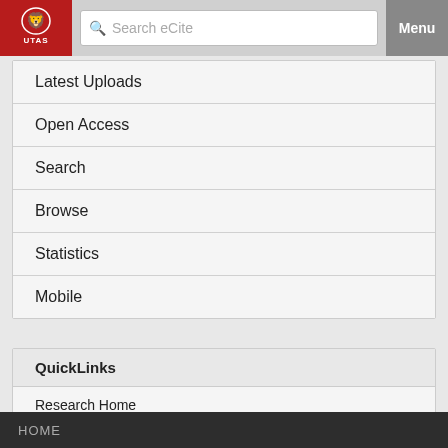[Figure (logo): UTAS University of Tasmania red logo with lion crest]
Search eCite
Menu
Latest Uploads
Open Access
Search
Browse
Statistics
Mobile
QuickLinks
Research Home
Staff Publication Upload
WARP
HOME